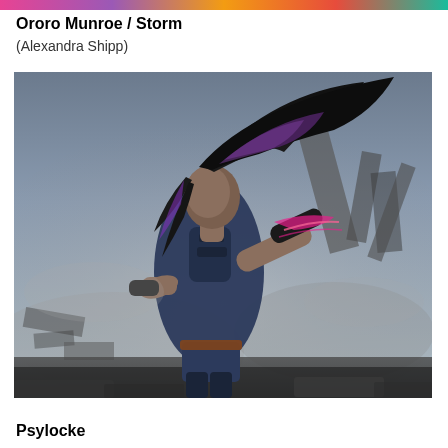Ororo Munroe / Storm
(Alexandra Shipp)
[Figure (photo): Promotional photo of Alexandra Shipp as Storm from X-Men: Apocalypse. She is wearing a dark superhero costume with cutouts, her long dark hair with purple highlights flying dramatically in the wind. She is posed against a stormy, destructed cityscape background with debris and smoke. Pink/lightning energy effects are visible on her arms.]
Psylocke